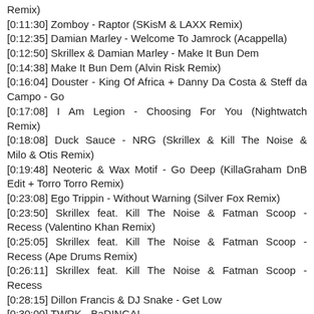Remix)
[0:11:30] Zomboy - Raptor (SKisM & LAXX Remix)
[0:12:35] Damian Marley - Welcome To Jamrock (Acappella)
[0:12:50] Skrillex & Damian Marley - Make It Bun Dem
[0:14:38] Make It Bun Dem (Alvin Risk Remix)
[0:16:04] Douster - King Of Africa + Danny Da Costa & Steff da Campo - Go
[0:17:08] I Am Legion - Choosing For You (Nightwatch Remix)
[0:18:08] Duck Sauce - NRG (Skrillex & Kill The Noise & Milo & Otis Remix)
[0:19:48] Neoteric & Wax Motif - Go Deep (KillaGraham DnB Edit + Torro Torro Remix)
[0:23:08] Ego Trippin - Without Warning (Silver Fox Remix)
[0:23:50] Skrillex feat. Kill The Noise & Fatman Scoop - Recess (Valentino Khan Remix)
[0:25:05] Skrillex feat. Kill The Noise & Fatman Scoop - Recess (Ape Drums Remix)
[0:26:11] Skrillex feat. Kill The Noise & Fatman Scoop - Recess
[0:28:15] Dillon Francis & DJ Snake - Get Low
[0:30:00] TWRK - BaDINGA!
[0:31:00] ID - ID + Skrillex - Kill EVERYBODY (Acapella)
[0:31:49] Skream - Bang That
[0:32:38] Eptic - Danger (Habstrakt VIP)